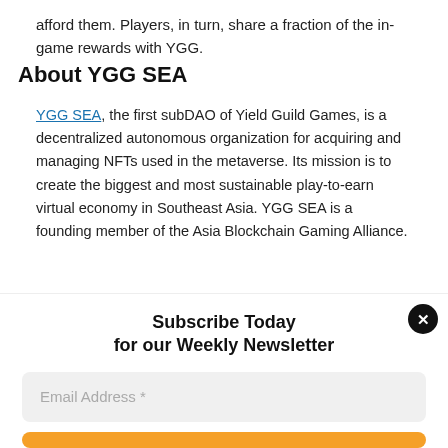afford them. Players, in turn, share a fraction of the in-game rewards with YGG.
About YGG SEA
YGG SEA, the first subDAO of Yield Guild Games, is a decentralized autonomous organization for acquiring and managing NFTs used in the metaverse. Its mission is to create the biggest and most sustainable play-to-earn virtual economy in Southeast Asia. YGG SEA is a founding member of the Asia Blockchain Gaming Alliance.
Contacts
Subscribe Today for our Weekly Newsletter
Email Address *